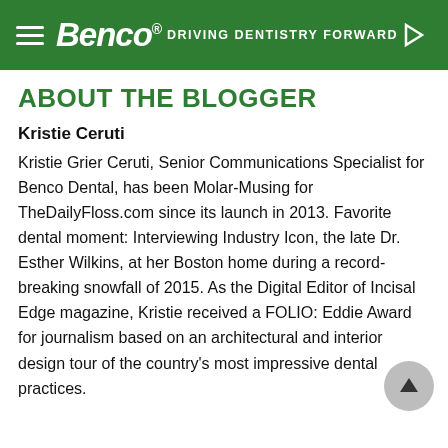Benco® DRIVING DENTISTRY FORWARD
ABOUT THE BLOGGER
Kristie Ceruti
Kristie Grier Ceruti, Senior Communications Specialist for Benco Dental, has been Molar-Musing for TheDailyFloss.com since its launch in 2013. Favorite dental moment: Interviewing Industry Icon, the late Dr. Esther Wilkins, at her Boston home during a record-breaking snowfall of 2015. As the Digital Editor of Incisal Edge magazine, Kristie received a FOLIO: Eddie Award for journalism based on an architectural and interior design tour of the country's most impressive dental practices.